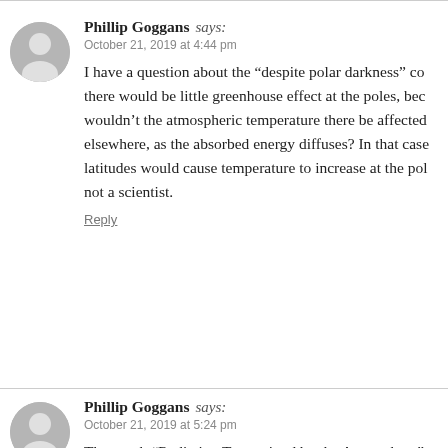Phillip Goggans says: October 21, 2019 at 4:44 pm
I have a question about the “despite polar darkness” co... there would be little greenhouse effect at the poles, bec... wouldn’t the atmospheric temperature there be affected... elsewhere, as the absorbed energy diffuses? In that case... latitudes would cause temperature to increase at the pol... not a scientist.
Reply
Phillip Goggans says: October 21, 2019 at 5:24 pm
The graph “Radiation Transmitted by the Atmosphere”... understand, however, why Tony infers from it that incre...